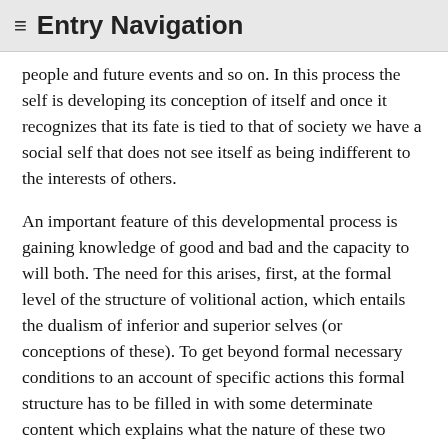≡ Entry Navigation
people and future events and so on. In this process the self is developing its conception of itself and once it recognizes that its fate is tied to that of society we have a social self that does not see itself as being indifferent to the interests of others.
An important feature of this developmental process is gaining knowledge of good and bad and the capacity to will both. The need for this arises, first, at the formal level of the structure of volitional action, which entails the dualism of inferior and superior selves (or conceptions of these). To get beyond formal necessary conditions to an account of specific actions this formal structure has to be filled in with some determinate content which explains what the nature of these two selves is. At the level of social morality this may involve no more than knowledge of what society demands of me—which I will identify as the superior, good self I should be—alongside my tendencies to go my own way which marks the bad self that opposes the social norms. But there must be more than mere knowledge, for it is also necessary